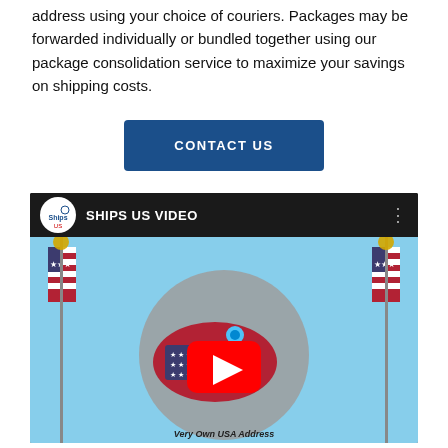address using your choice of couriers. Packages may be forwarded individually or bundled together using our package consolidation service to maximize your savings on shipping costs.
[Figure (other): A blue 'CONTACT US' button]
[Figure (screenshot): YouTube-style video thumbnail showing 'Ships US Video' with a logo, video title bar, and a thumbnail with US flags, a map of the USA with a YouTube play button overlay, and 'Very Own USA Address' text at the bottom.]